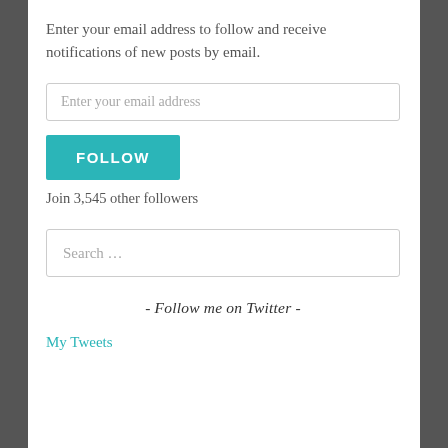Enter your email address to follow and receive notifications of new posts by email.
Enter your email address
FOLLOW
Join 3,545 other followers
Search …
- Follow me on Twitter -
My Tweets